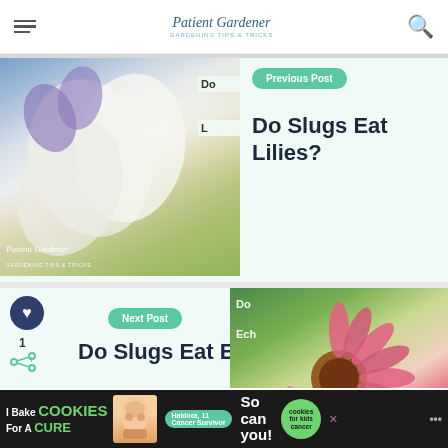Patient Gardener - Gardening Tips & Tricks
[Figure (photo): White and purple lily flowers - Previous Post image with Patient Gardener watermark]
Previous Post
Do Slugs Eat Lilies?
[Figure (photo): Pink echinacea (coneflowers) - Next Post image with Patient Gardener watermark]
Next Post
Do Slugs Eat Echinacea?
WHAT'S NEXT → What to grow in a...
[Figure (photo): Small circular thumbnail of garden plants]
I Bake COOKIES For A CURE - Haidora, 11 Cancer Survivor - So can you! - cookies for kids cancer